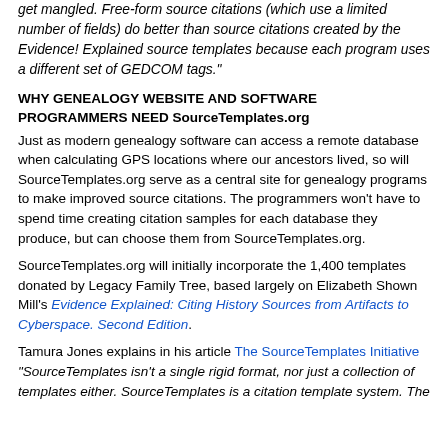get mangled. Free-form source citations (which use a limited number of fields) do better than source citations created by the Evidence! Explained source templates because each program uses a different set of GEDCOM tags."
WHY GENEALOGY WEBSITE AND SOFTWARE PROGRAMMERS NEED SourceTemplates.org
Just as modern genealogy software can access a remote database when calculating GPS locations where our ancestors lived, so will SourceTemplates.org serve as a central site for genealogy programs to make improved source citations. The programmers won't have to spend time creating citation samples for each database they produce, but can choose them from SourceTemplates.org.
SourceTemplates.org will initially incorporate the 1,400 templates donated by Legacy Family Tree, based largely on Elizabeth Shown Mill's Evidence Explained: Citing History Sources from Artifacts to Cyberspace. Second Edition.
Tamura Jones explains in his article The SourceTemplates Initiative "SourceTemplates isn't a single rigid format, nor just a collection of templates either. SourceTemplates is a citation template system. The